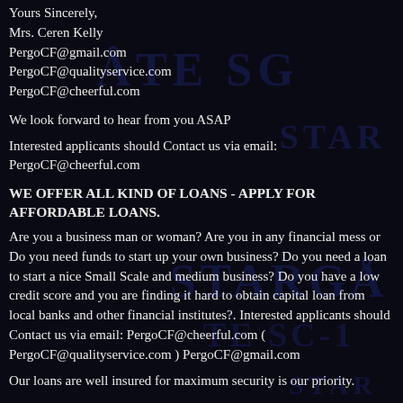Yours Sincerely,
Mrs. Ceren Kelly
PergoCF@gmail.com
PergoCF@qualityservice.com
PergoCF@cheerful.com
We look forward to hear from you ASAP
Interested applicants should Contact us via email:
PergoCF@cheerful.com
WE OFFER ALL KIND OF LOANS - APPLY FOR AFFORDABLE LOANS.
Are you a business man or woman? Are you in any financial mess or Do you need funds to start up your own business? Do you need a loan to start a nice Small Scale and medium business? Do you have a low credit score and you are finding it hard to obtain capital loan from local banks and other financial institutes?. Interested applicants should Contact us via email: PergoCF@cheerful.com ( PergoCF@qualityservice.com ) PergoCF@gmail.com
Our loans are well insured for maximum security is our priority.